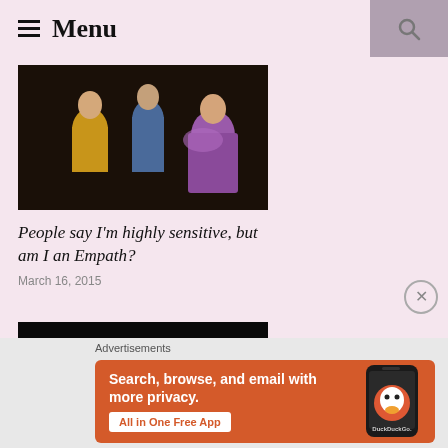≡ Menu
[Figure (photo): Star Trek scene with Captain Kirk in gold shirt, Spock in blue shirt in background, and a woman in purple sparkly dress]
People say I'm highly sensitive, but am I an Empath?
March 16, 2015
[Figure (photo): Black movie poster/credits with white text showing film credits]
Advertisements
[Figure (other): DuckDuckGo advertisement banner: Search, browse, and email with more privacy. All in One Free App. Shows DuckDuckGo logo on a phone.]